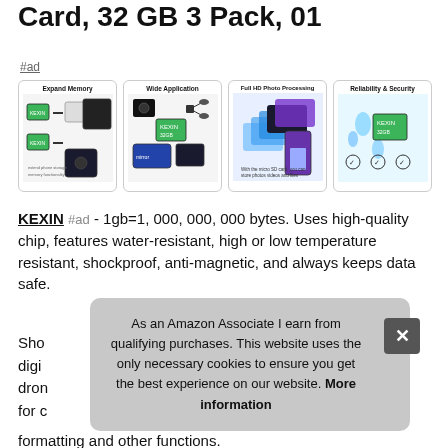Card, 32 GB 3 Pack, 01
#ad
[Figure (photo): Four product images showing: Expand Memory, Wide Application, Full HD Photo Processing, Reliability & Security for KEXIN microSD card]
KEXIN #ad - 1gb=1, 000, 000, 000 bytes. Uses high-quality chip, features water-resistant, high or low temperature resistant, shockproof, anti-magnetic, and always keeps data safe.
Sho... digi... dron... for c... formatting and other functions.
As an Amazon Associate I earn from qualifying purchases. This website uses the only necessary cookies to ensure you get the best experience on our website. More information